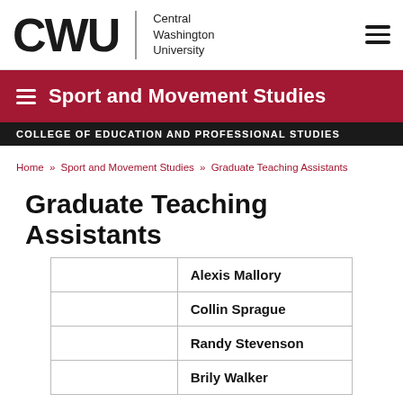CWU | Central Washington University
Sport and Movement Studies
COLLEGE OF EDUCATION AND PROFESSIONAL STUDIES
Home » Sport and Movement Studies » Graduate Teaching Assistants
Graduate Teaching Assistants
|  | Alexis Mallory |
|  | Collin Sprague |
|  | Randy Stevenson |
|  | Brily Walker |